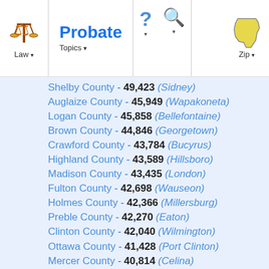Probate | Law | Topics | Zip
Shelby County - 49,423 (Sidney)
Auglaize County - 45,949 (Wapakoneta)
Logan County - 45,858 (Bellefontaine)
Brown County - 44,846 (Georgetown)
Crawford County - 43,784 (Bucyrus)
Highland County - 43,589 (Hillsboro)
Madison County - 43,435 (London)
Fulton County - 42,698 (Wauseon)
Holmes County - 42,366 (Millersburg)
Preble County - 42,270 (Eaton)
Clinton County - 42,040 (Wilmington)
Ottawa County - 41,428 (Port Clinton)
Mercer County - 40,814 (Celina)
Champaign County - 40,097 (Urbana)
Guernsey County - 40,087 (Cambridge)
Defiance County - 39,037 (Defiance)